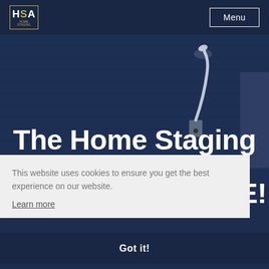[Figure (screenshot): Website screenshot showing HSA Home Staging company page with dark navy background, wall lamp photo, and cookie consent overlay]
The Home Staging
RE!
This website uses cookies to ensure you get the best experience on our website.
Learn more
Got it!